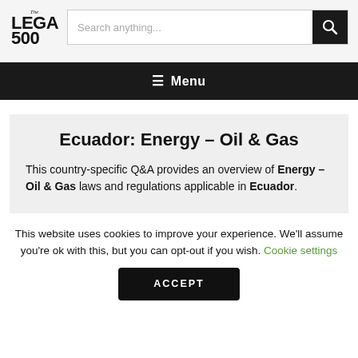[Figure (logo): The Legal 500 logo — bold serif text 'THE LEGAL 500']
Search anything...
≡ Menu
Ecuador: Energy – Oil & Gas
This country-specific Q&A provides an overview of Energy – Oil & Gas laws and regulations applicable in Ecuador.
This website uses cookies to improve your experience. We'll assume you're ok with this, but you can opt-out if you wish. Cookie settings ACCEPT